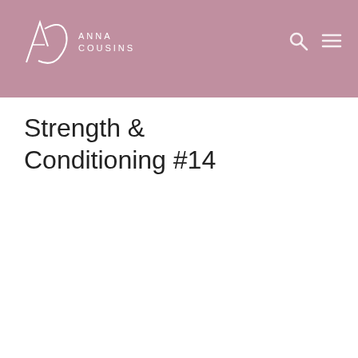[Figure (logo): Anna Cousins logo with stylized AC monogram and text ANNA COUSINS on pink/mauve header background with search and menu icons]
Strength & Conditioning #14